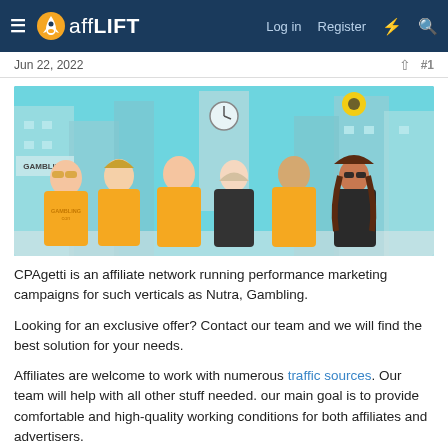affLIFT — Log in  Register
Jun 22, 2022  #1
[Figure (illustration): Illustrated banner showing six cartoon characters in orange/yellow t-shirts standing in a stylized city street with buildings, a clock tower, and signs including 'GAMBLING'. A logo is visible in the upper right area of the image.]
CPAgetti is an affiliate network running performance marketing campaigns for such verticals as Nutra, Gambling.
Looking for an exclusive offer? Contact our team and we will find the best solution for your needs.
Affiliates are welcome to work with numerous traffic sources. Our team will help with all other stuff needed. our main goal is to provide comfortable and high-quality working conditions for both affiliates and advertisers.